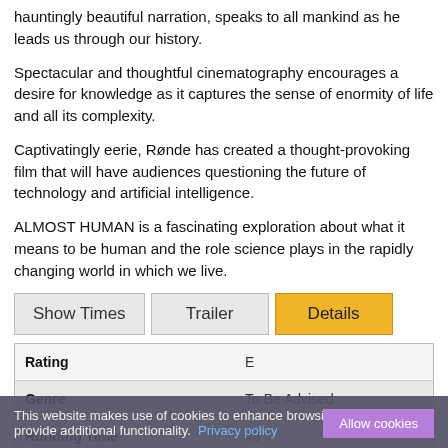hauntingly beautiful narration, speaks to all mankind as he leads us through our history.
Spectacular and thoughtful cinematography encourages a desire for knowledge as it captures the sense of enormity of life and all its complexity.
Captivatingly eerie, Rønde has created a thought-provoking film that will have audiences questioning the future of technology and artificial intelligence.
ALMOST HUMAN is a fascinating exploration about what it means to be human and the role science plays in the rapidly changing world in which we live.
Show Times | Trailer | Details (tabs)
| Rating | E |
| --- | --- |
| Genre | To Be Advised |
| Running Time | 48 |
| Language |  |
This website makes use of cookies to enhance browsing experience and provide additional functionality. Privacy policy | Allow cookies